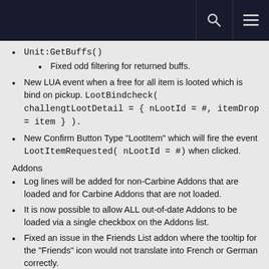[navigation bar with search and menu icons]
Unit:GetBuffs()
Fixed odd filtering for returned buffs.
New LUA event when a free for all item is looted which is bind on pickup. LootBindcheck( challengtLootDetail = { nLootId = #, itemDrop = item } ).
New Confirm Button Type "LootItem" which will fire the event LootItemRequested( nLootId = #) when clicked.
Addons
Log lines will be added for non-Carbine Addons that are loaded and for Carbine Addons that are not loaded.
It is now possible to allow ALL out-of-date Addons to be loaded via a single checkbox on the Addons list.
Fixed an issue in the Friends List addon where the tooltip for the "Friends" icon would not translate into French or German correctly.
The Event "StringCopiedToClipboard" had been spelled...